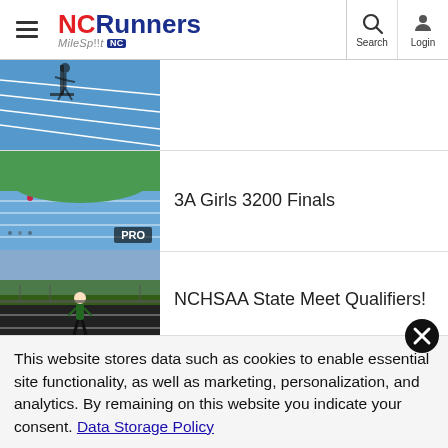NCRunners MileSplit NC — Search | Login
[Figure (photo): Track photo (partially visible) — top of page, cropped]
3A Girls 3200 Finals
[Figure (photo): Track with runners at start of race, PRO badge overlay]
NCHSAA State Meet Qualifiers!
[Figure (photo): Female runner on black track at state qualifiers]
3A Boys 3200 Finals
[Figure (photo): Track photo (partially visible) — bottom list item]
This website stores data such as cookies to enable essential site functionality, as well as marketing, personalization, and analytics. By remaining on this website you indicate your consent. Data Storage Policy